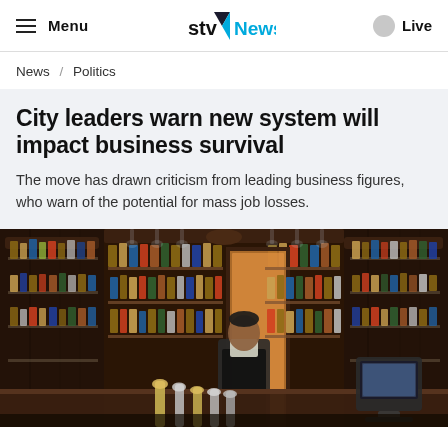Menu | STV News | Live
News / Politics
City leaders warn new system will impact business survival
The move has drawn criticism from leading business figures, who warn of the potential for mass job losses.
[Figure (photo): Bartender standing behind a bar with shelves full of liquor bottles, wooden cabinetry, beer taps in the foreground, and a POS terminal to the right.]